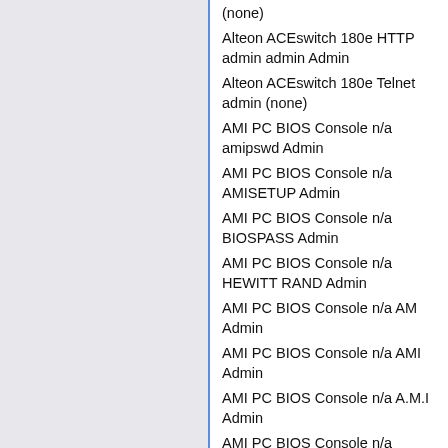(none)
Alteon ACEswitch 180e HTTP admin admin Admin
Alteon ACEswitch 180e Telnet admin (none)
AMI PC BIOS Console n/a amipswd Admin
AMI PC BIOS Console n/a AMISETUP Admin
AMI PC BIOS Console n/a BIOSPASS Admin
AMI PC BIOS Console n/a HEWITT RAND Admin
AMI PC BIOS Console n/a AM Admin
AMI PC BIOS Console n/a AMI Admin
AMI PC BIOS Console n/a A.M.I Admin
AMI PC BIOS Console n/a AMI_SW Admin
AMI PC BIOS Console n/a AMI?SW Admin
AMI PC BIOS Console n/a aammii Admin
AMI PC BIOS Console n/a AMI!SW Admin
AMI PC BIOS Console n/a AMI.KEY Admin
AMI PC BIOS Console n/a AMI.KEZ Admin
AMI PC BIOS Console n/a AMI~ Admin